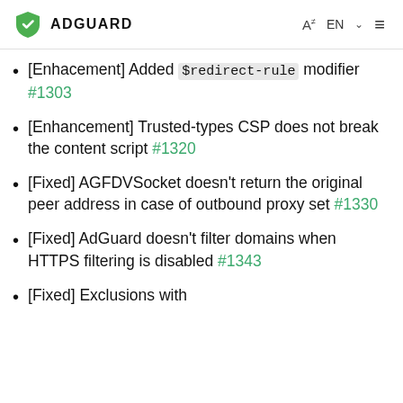ADGUARD | EN
[Enhacement] Added $redirect-rule modifier #1303
[Enhancement] Trusted-types CSP does not break the content script #1320
[Fixed] AGFDVSocket doesn't return the original peer address in case of outbound proxy set #1330
[Fixed] AdGuard doesn't filter domains when HTTPS filtering is disabled #1343
[Fixed] Exclusions with